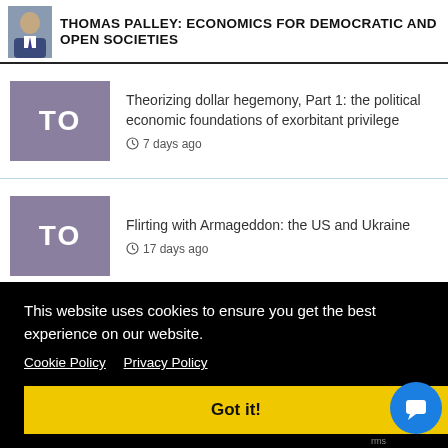[Figure (photo): Small portrait photo of a man in a suit, gray/blue tones]
THOMAS PALLEY: ECONOMICS FOR DEMOCRATIC AND OPEN SOCIETIES
Theorizing dollar hegemony, Part 1: the political economic foundations of exorbitant privilege — 7 days ago
Flirting with Armageddon: the US and Ukraine — 17 days ago
This website uses cookies to ensure you get the best experience on our website.
Cookie Policy   Privacy Policy
Got it!